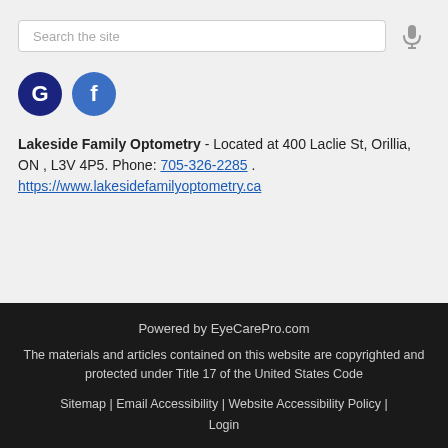Search the site
[Figure (illustration): Google and Facebook social media icon circles]
Lakeside Family Optometry - Located at 400 Laclie St, Orillia, ON , L3V 4P5. Phone: 705-326-2285 . https://www.lakesidefamilyoptometry.ca
Powered by EyeCarePro.com
The materials and articles contained on this website are copyrighted and protected under Title 17 of the United States Code
Sitemap | Email Accessibility | Website Accessibility Policy | Login